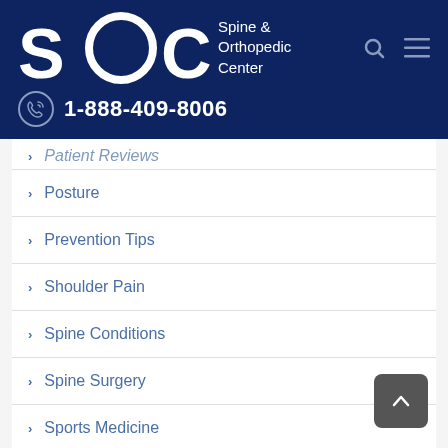[Figure (logo): SOC Spine & Orthopedic Center logo with phone number 1-888-409-8006 on dark blue header]
Patient Reviews
Posture
Prevention Tips
Shoulder Pain
Spine Conditions
Spine Surgery
Sports Medicine